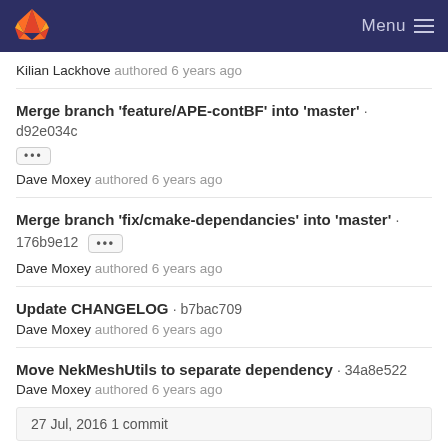Menu
Kilian Lackhove authored 6 years ago
Merge branch 'feature/APE-contBF' into 'master' · d92e034c
 Dave Moxey authored 6 years ago
Merge branch 'fix/cmake-dependancies' into 'master' · 176b9e12
 Dave Moxey authored 6 years ago
Update CHANGELOG · b7bac709
Dave Moxey authored 6 years ago
Move NekMeshUtils to separate dependency · 34a8e522
Dave Moxey authored 6 years ago
27 Jul, 2016 1 commit
fix · 50db1e6b